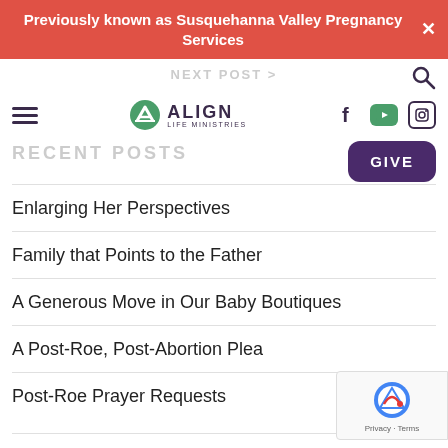Previously known as Susquehanna Valley Pregnancy Services
NEXT POST >
[Figure (logo): Align Life Ministries logo with green circle and text]
RECENT POSTS
Enlarging Her Perspectives
Family that Points to the Father
A Generous Move in Our Baby Boutiques
A Post-Roe, Post-Abortion Plea
Post-Roe Prayer Requests
CATEGORIES